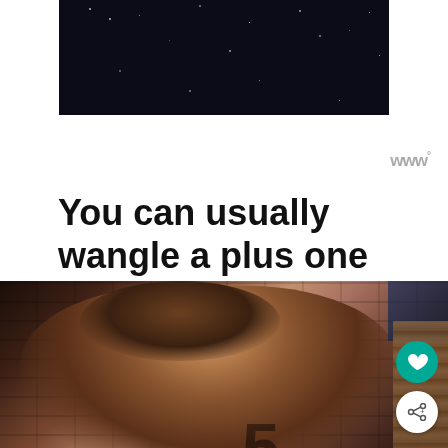[Figure (screenshot): Top advertisement banner with dark night sky/stars background image, centered on white bar with 'w°' logo at bottom right]
You can usually wangle a plus one
[Figure (photo): A bald man with beard bending over near a brick wall, with a large number '5' visible in the background. Heart and share buttons visible on right side.]
[Figure (screenshot): Bottom advertisement bar: dark background with white ad panel showing 'Thank you!' text with pencil/flag imagery on left, firefighters/military group photo in center, and Operation Gratitude logo on right. Close X button and w° logo visible.]